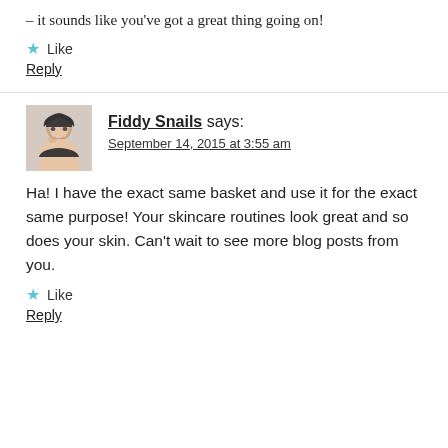– it sounds like you've got a great thing going on!
Like
Reply
Fiddy Snails says:
September 14, 2015 at 3:55 am
[Figure (photo): Avatar photo of Fiddy Snails, a woman with dark hair touching her face against a white background]
Ha! I have the exact same basket and use it for the exact same purpose! Your skincare routines look great and so does your skin. Can't wait to see more blog posts from you.
Like
Reply